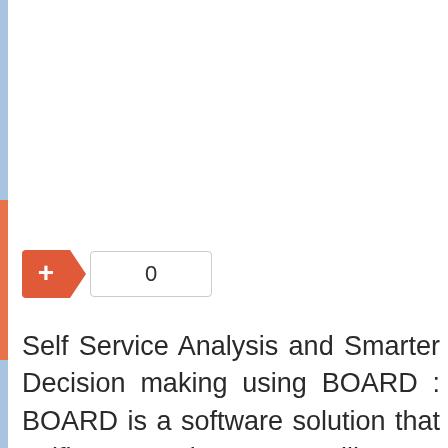[Figure (screenshot): UI widget showing an orange plus button with an arrow notch pointing to a number box displaying 0]
Self Service Analysis and Smarter Decision making using BOARD : BOARD is a software solution that unifies Business Intelligence, Performance Management and Analytics in a single environment.